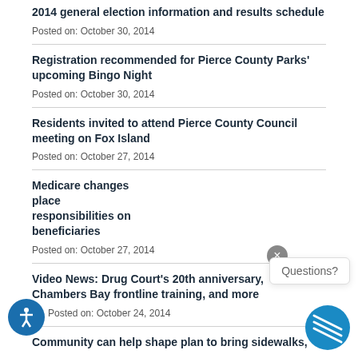2014 general election information and results schedule
Posted on: October 30, 2014
Registration recommended for Pierce County Parks' upcoming Bingo Night
Posted on: October 30, 2014
Residents invited to attend Pierce County Council meeting on Fox Island
Posted on: October 27, 2014
Medicare changes place responsibilities on beneficiaries
Posted on: October 27, 2014
Video News: Drug Court's 20th anniversary, Chambers Bay frontline training, and more
Posted on: October 24, 2014
Community can help shape plan to bring sidewalks,